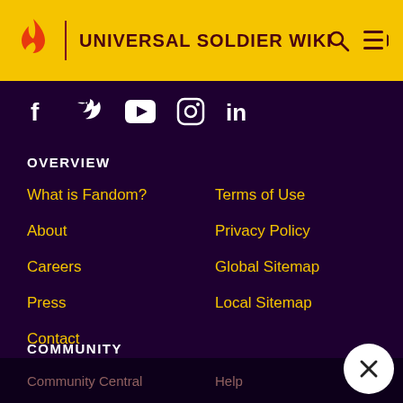UNIVERSAL SOLDIER WIKI
[Figure (logo): Fandom flame logo in orange/red, vertical divider, site title 'UNIVERSAL SOLDIER WIKI', search and menu icons on right]
[Figure (infographic): Social media icons row: Facebook, Twitter, YouTube, Instagram, LinkedIn — all white on dark purple background]
OVERVIEW
What is Fandom?
Terms of Use
About
Privacy Policy
Careers
Global Sitemap
Press
Local Sitemap
Contact
COMMUNITY
Community Central
Help